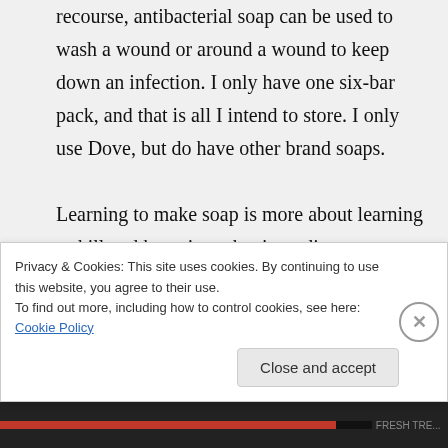recourse, antibacterial soap can be used to wash a wound or around a wound to keep down an infection. I only have one six-bar pack, and that is all I intend to store. I only use Dove, but do have other brand soaps.

Learning to make soap is more about learning a skill and knowing what ingredients you are putting on
Privacy & Cookies: This site uses cookies. By continuing to use this website, you agree to their use.
To find out more, including how to control cookies, see here: Cookie Policy